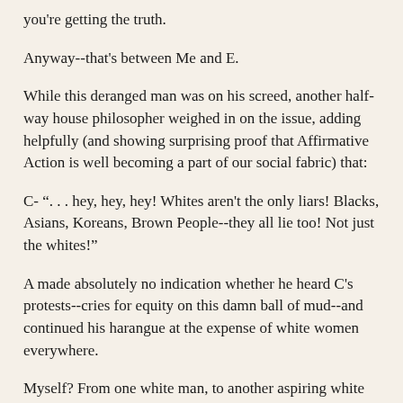you're getting the truth.
Anyway--that's between Me and E.
While this deranged man was on his screed, another half-way house philosopher weighed in on the issue, adding helpfully (and showing surprising proof that Affirmative Action is well becoming a part of our social fabric) that:
C- ". . . hey, hey, hey! Whites aren't the only liars! Blacks, Asians, Koreans, Brown People--they all lie too! Not just the whites!"
A made absolutely no indication whether he heard C's protests--cries for equity on this damn ball of mud--and continued his harangue at the expense of white women everywhere.
Myself? From one white man, to another aspiring white man: I wouldn't have been able to stomach seeing him affiliate my good white complexion and fine Y chromosome with such extremist opinions and behaviour. We white men have made painstaking efforts over the last few months to bring a fuzzy exterior to our blunt diplomacy, deceit, and tyrannical power-mongering that it almost goes without saying, once you've schooled in our ways, that